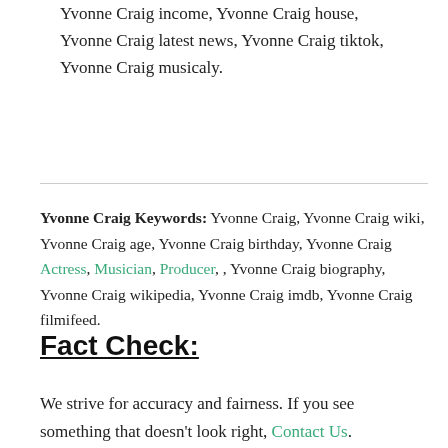Yvonne Craig income, Yvonne Craig house, Yvonne Craig latest news, Yvonne Craig tiktok, Yvonne Craig musicaly.
Yvonne Craig Keywords: Yvonne Craig, Yvonne Craig wiki, Yvonne Craig age, Yvonne Craig birthday, Yvonne Craig Actress, Musician, Producer, , Yvonne Craig biography, Yvonne Craig wikipedia, Yvonne Craig imdb, Yvonne Craig filmifeed.
Fact Check:
We strive for accuracy and fairness. If you see something that doesn't look right, Contact Us.